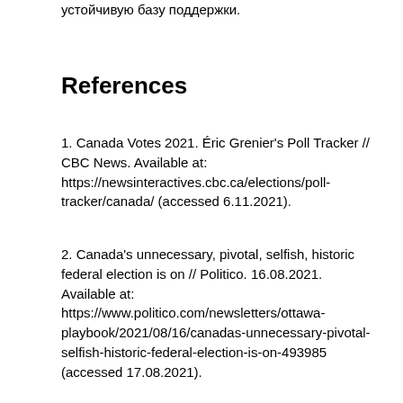устойчивую базу поддержки.
References
1. Canada Votes 2021. Éric Grenier's Poll Tracker // CBC News. Available at: https://newsinteractives.cbc.ca/elections/poll-tracker/canada/ (accessed 6.11.2021).
2. Canada's unnecessary, pivotal, selfish, historic federal election is on // Politico. 16.08.2021. Available at: https://www.politico.com/newsletters/ottawa-playbook/2021/08/16/canadas-unnecessary-pivotal-selfish-historic-federal-election-is-on-493985 (accessed 17.08.2021).